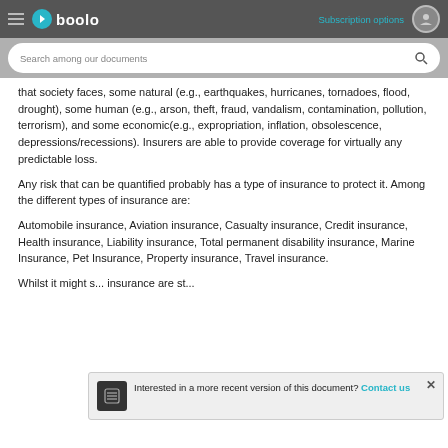Gboolo — Subscription options
that society faces, some natural (e.g., earthquakes, hurricanes, tornadoes, flood, drought), some human (e.g., arson, theft, fraud, vandalism, contamination, pollution, terrorism), and some economic(e.g., expropriation, inflation, obsolescence, depressions/recessions). Insurers are able to provide coverage for virtually any predictable loss.
Any risk that can be quantified probably has a type of insurance to protect it. Among the different types of insurance are:
Automobile insurance, Aviation insurance, Casualty insurance, Credit insurance, Health insurance, Liability insurance, Total permanent disability insurance, Marine Insurance, Pet Insurance, Property insurance, Travel insurance.
Whilst it might s... insurance are st...
Interested in a more recent version of this document? Contact us